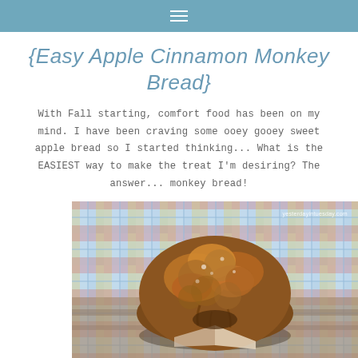≡
{Easy Apple Cinnamon Monkey Bread}
With Fall starting, comfort food has been on my mind. I have been craving some ooey gooey sweet apple bread so I started thinking... What is the EASIEST way to make the treat I'm desiring? The answer... monkey bread!
[Figure (photo): A round monkey bread loaf with caramelized brown glaze, sitting on a plaid tablecloth, with watermark 'yesterdayintuesday.com']